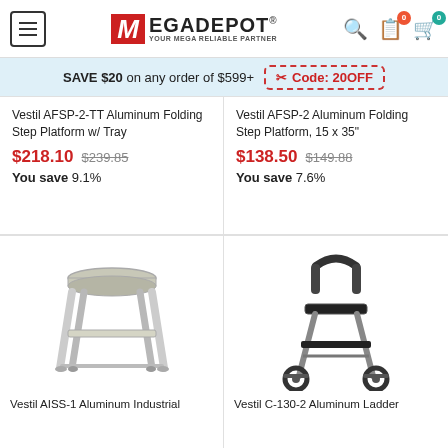[Figure (logo): MegaDepot logo with hamburger menu, search icon, list icon with badge 0, and cart icon with badge 0]
SAVE $20 on any order of $599+  Code: 20OFF
Vestil AFSP-2-TT Aluminum Folding Step Platform w/ Tray
$218.10  $239.85
You save 9.1%
Vestil AFSP-2 Aluminum Folding Step Platform, 15 x 35"
$138.50  $149.88
You save 7.6%
[Figure (photo): Vestil AISS-1 Aluminum Industrial Step Stand product photo]
[Figure (photo): Vestil C-130-2 Aluminum Ladder with wheels product photo]
Vestil AISS-1 Aluminum Industrial
Vestil C-130-2 Aluminum Ladder